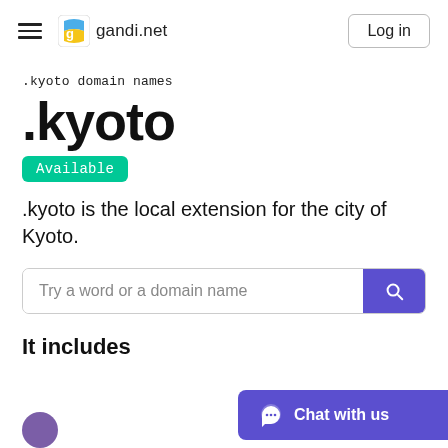gandi.net — Log in
.kyoto domain names
.kyoto
Available
.kyoto is the local extension for the city of Kyoto.
Try a word or a domain name
It includes
Chat with us